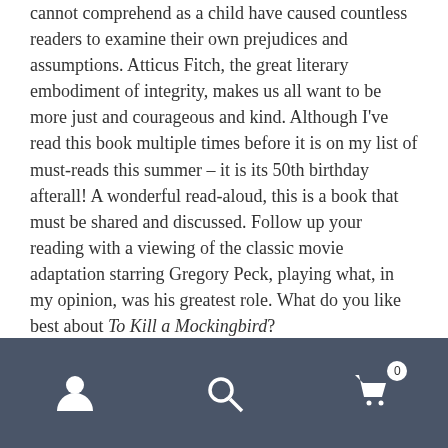cannot comprehend as a child have caused countless readers to examine their own prejudices and assumptions. Atticus Fitch, the great literary embodiment of integrity, makes us all want to be more just and courageous and kind. Although I've read this book multiple times before it is on my list of must-reads this summer – it is its 50th birthday afterall! A wonderful read-aloud, this is a book that must be shared and discussed. Follow up your reading with a viewing of the classic movie adaptation starring Gregory Peck, playing what, in my opinion, was his greatest role. What do you like best about To Kill a Mockingbird?
Share this:
[Figure (other): Share buttons: Instagram, Facebook, Email]